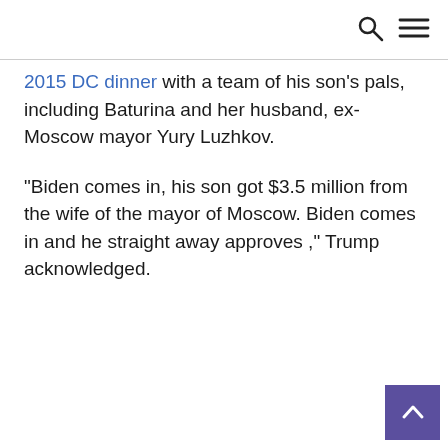2015 DC dinner with a team of his son's pals, including Baturina and her husband, ex-Moscow mayor Yury Luzhkov.
“Biden comes in, his son got $3.5 million from the wife of the mayor of Moscow. Biden comes in and he straight away approves ,” Trump acknowledged.